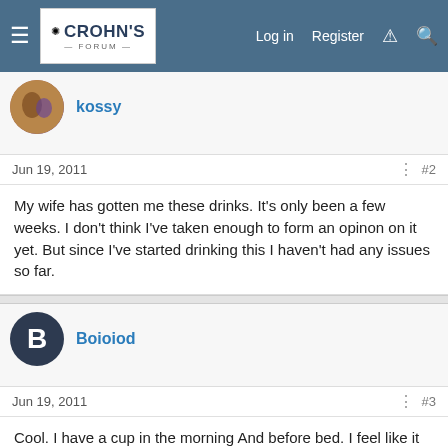Crohn's Forum — Log in  Register
kossy
Jun 19, 2011  #2
My wife has gotten me these drinks. It's only been a few weeks. I don't think I've taken enough to form an opinon on it yet. But since I've started drinking this I haven't had any issues so far.
Boioiod
Jun 19, 2011  #3
Cool. I have a cup in the morning And before bed. I feel like it really sets me off right for the day, and helps a ton with digestion. The pommegranete flavor is the best at 99% lactose free.